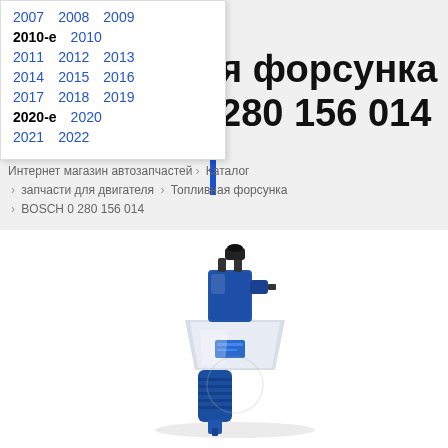2007  2008  2009
2010-е  2010
2011  2012  2013
2014  2015  2016
2017  2018  2019
2020-е  2020
2021  2022
я форсунка 280 156 014
Интернет магазин автозапчастей > Каталог > запчасти для двигателя > Топливная форсунка > BOSCH 0 280 156 014
[Figure (photo): Blue fuel injector (BOSCH 0 280 156 014) shown at an angle against a white background]